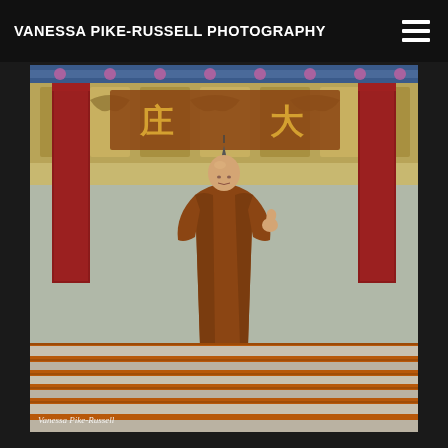VANESSA PIKE-RUSSELL PHOTOGRAPHY
[Figure (photo): A Buddhist monk in brown robes standing on stone steps in front of a Chinese temple with red columns and ornate decorative facade with Chinese characters. Watermark reads 'Vanessa Pike-Russell'.]